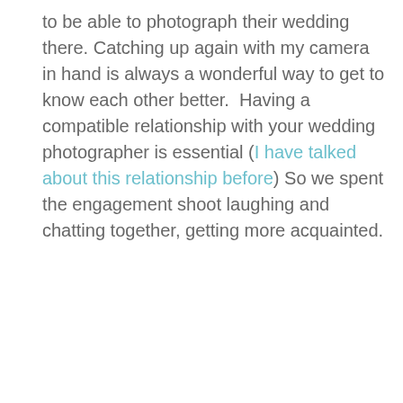to be able to photograph their wedding there. Catching up again with my camera in hand is always a wonderful way to get to know each other better. Having a compatible relationship with your wedding photographer is essential (I have talked about this relationship before) So we spent the engagement shoot laughing and chatting together, getting more acquainted.